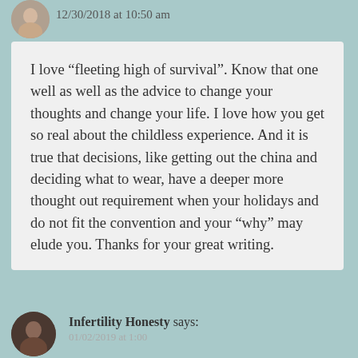12/30/2018 at 10:50 am
I love “fleeting high of survival”. Know that one well as well as the advice to change your thoughts and change your life. I love how you get so real about the childless experience. And it is true that decisions, like getting out the china and deciding what to wear, have a deeper more thought out requirement when your holidays and do not fit the convention and your “why” may elude you. Thanks for your great writing.
Reply
Infertility Honesty says: